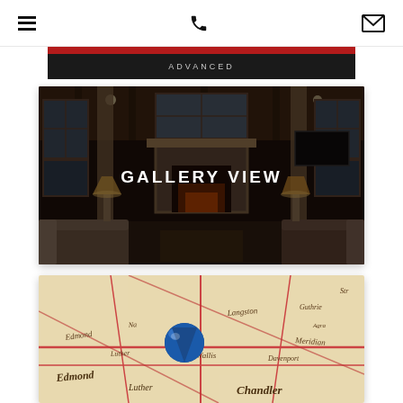Navigation header with hamburger menu, phone icon, and email icon
ADVANCED
[Figure (photo): Dark interior photo of a luxury home great room with wood ceiling, fireplace, large windows and warm lighting, overlaid with text 'GALLERY VIEW']
[Figure (photo): Close-up photo of a map with a blue pushpin/map marker, showing place names including Edmond, Luther, Chandler, Langston, and other Oklahoma-area towns]